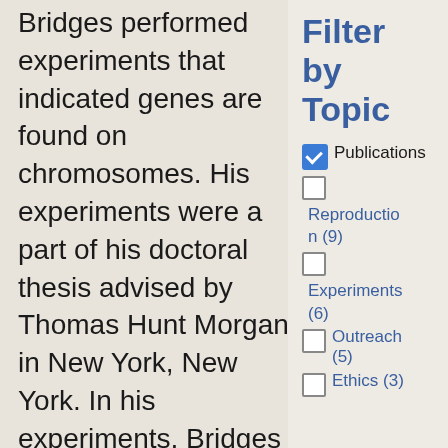Bridges performed experiments that indicated genes are found on chromosomes. His experiments were a part of his doctoral thesis advised by Thomas Hunt Morgan in New York, New York. In his experiments, Bridges studied Drosophila, the common fruit fly, and by doing so showed that a process called nondisjunction caused chromosomes, under some circumstances, to fail to separate when forming sperm and egg cells. Nondisjunction, as described by Bridges, caused sperm or egg cells to contain abnormal
Filter by Topic
Publications (checked)
Reproduction (9)
Experiments (6)
Outreach (5)
Ethics (3)